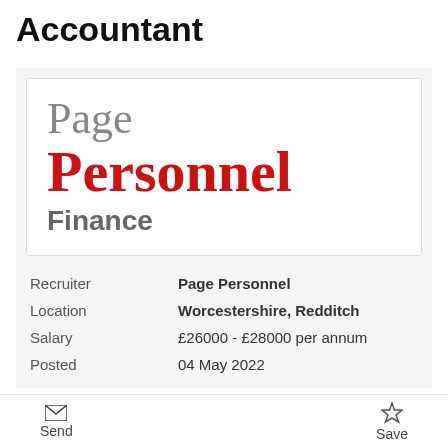Accountant
[Figure (logo): Page Personnel Finance logo — 'Page' in grey serif, 'Personnel' in large red serif bold, 'Finance' in grey sans-serif bold]
| Recruiter | Page Personnel |
| Location | Worcestershire, Redditch |
| Salary | £26000 - £28000 per annum |
| Posted | 04 May 2022 |
Send    Save